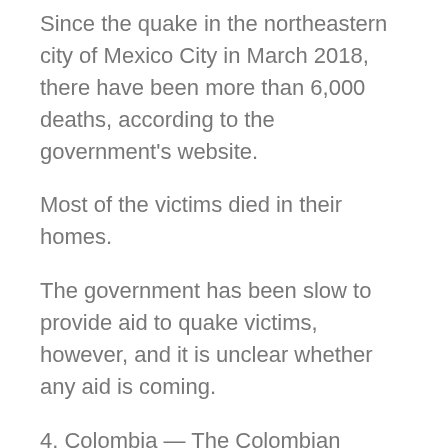Since the quake in the northeastern city of Mexico City in March 2018, there have been more than 6,000 deaths, according to the government's website.
Most of the victims died in their homes.
The government has been slow to provide aid to quake victims, however, and it is unclear whether any aid is coming.
4. Colombia — The Colombian government has said that it has been working to provide assistance to quake-affected areas, but has been criticized for not doing enough.
Colombia has a long history of quakes, and the area that was hit hardest by the April 11 quake was the most remote and populated.
Many of the homes were destroyed.